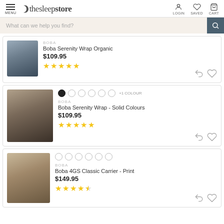the sleep store — MENU | LOGIN | SAVED | CART
What can we help you find?
[Figure (photo): Product image of Boba Serenity Wrap Organic, dark coloured wrap]
BOBA
Boba Serenity Wrap Organic
$109.95
★★★★★
[Figure (photo): Product image of Boba Serenity Wrap Solid Colours, woman carrying baby]
BOBA
Boba Serenity Wrap - Solid Colours
$109.95
★★★★★
[Figure (photo): Product image of Boba 4GS Classic Carrier Print, woman with baby in carrier]
BOBA
Boba 4GS Classic Carrier - Print
$149.95
★★★★½